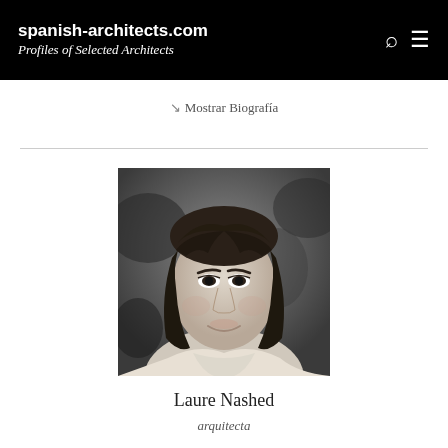spanish-architects.com
Profiles of Selected Architects
↘ Mostrar Biografía
[Figure (photo): Black and white portrait photograph of Laure Nashed, a woman with dark shoulder-length hair wearing a cowl-neck sweater, photographed against a blurred outdoor background.]
Laure Nashed
arquitecta